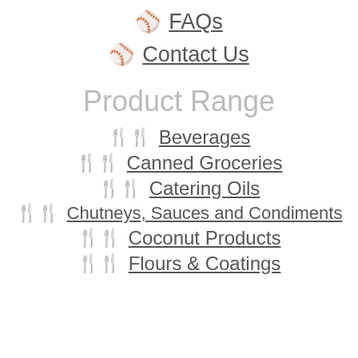FAQs
Contact Us
Product Range
Beverages
Canned Groceries
Catering Oils
Chutneys, Sauces and Condiments
Coconut Products
Flours & Coatings